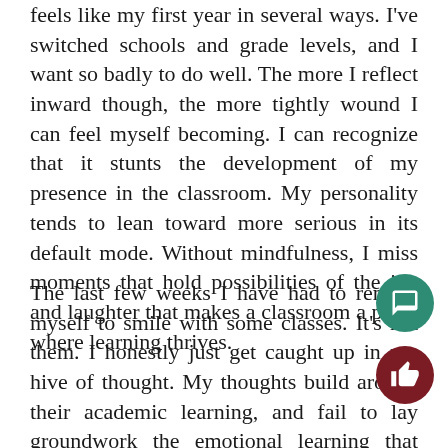feels like my first year in several ways. I've switched schools and grade levels, and I want so badly to do well. The more I reflect inward though, the more tightly wound I can feel myself becoming. I can recognize that it stunts the development of my presence in the classroom. My personality tends to lean toward more serious in its default mode. Without mindfulness, I miss moments that hold possibilities of the joy and laughter that makes a classroom a place where learning thrives.
The last few weeks I have had to remind myself to smile with some classes. It's not them. I honestly just get caught up in my hive of thought. My thoughts build around their academic learning, and fail to lay groundwork the emotional learning that cannot be separat